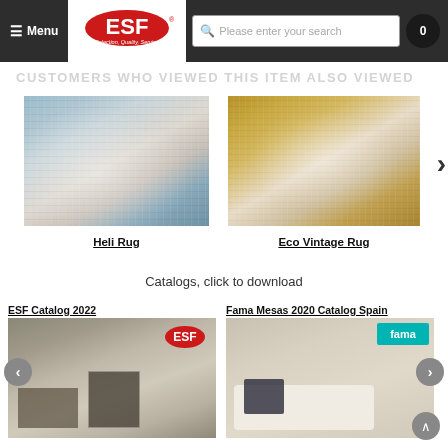Menu | ESF Logo | Please enter your search | 0
CUSTOMERS WHO VIEWED THIS ITEM ALSO VIEWED
[Figure (photo): Heli Rug product image - blue-gray toned rug with abstract pattern]
Heli Rug
[Figure (photo): Eco Vintage Rug product image - gold/amber toned rug with vintage pattern]
Eco Vintage Rug
Catalogs, click to download
ESF Catalog 2022
[Figure (photo): ESF Catalog 2022 cover showing modern interior room with ESF logo]
Fama Mesas 2020 Catalog Spain
[Figure (photo): Fama Mesas 2020 Catalog Spain cover showing couple on sofa with fama logo]